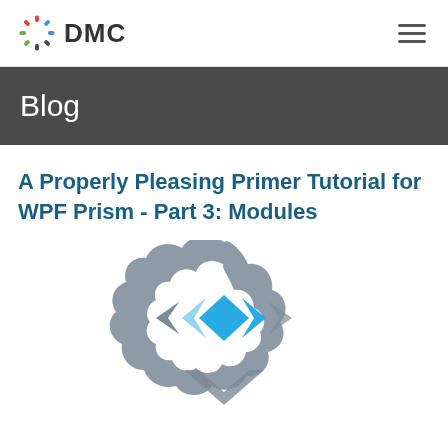DMC
Blog
A Properly Pleasing Primer Tutorial for WPF Prism - Part 3: Modules
[Figure (logo): Prism WPF logo — gray angular cloud-like shape with blue diamond/chevron shapes in front]